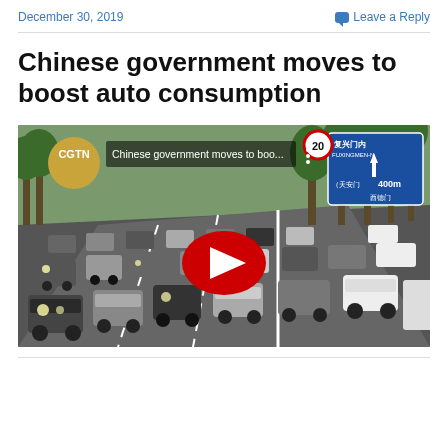December 30, 2019    Leave a Reply
Chinese government moves to boost auto consumption
[Figure (screenshot): YouTube video thumbnail from CGTN showing heavy traffic on a multi-lane Chinese city road with trees on the right side and a blue directional road sign. The video title reads 'Chinese government moves to boo...' A large red YouTube play button is overlaid in the center.]